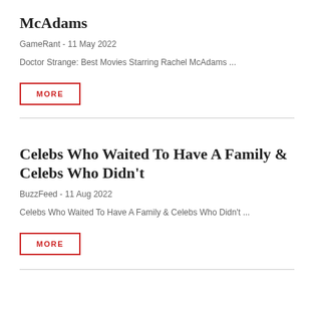McAdams
GameRant - 11 May 2022
Doctor Strange: Best Movies Starring Rachel McAdams  ...
MORE
Celebs Who Waited To Have A Family & Celebs Who Didn't
BuzzFeed - 11 Aug 2022
Celebs Who Waited To Have A Family & Celebs Who Didn't ...
MORE